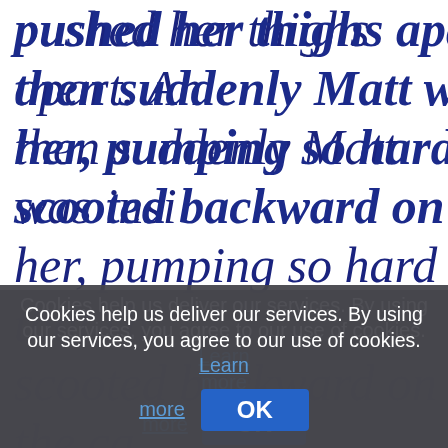pushed her thighs apart. And then suddenly Matt was insi her, pumping so hard that sh scooted backward on the ca
Cookies help us deliver our services. By using our services, you agree to our use of cookies. Learn more